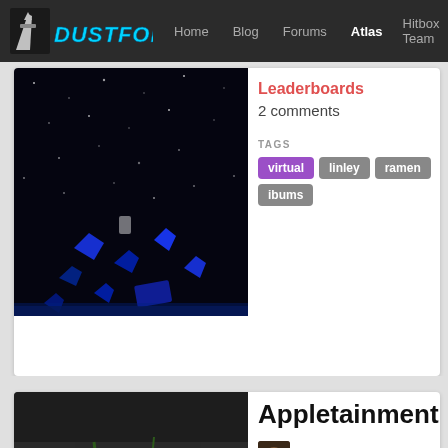DUSTFORCE — Home | Blog | Forums | Atlas | Hitbox Team
[Figure (screenshot): Game screenshot showing dark space-like level with blue particles/debris on black background]
Leaderboards
2 comments
TAGS
virtual  linley  ramen  ibums
Appletainment
by Mrfirestorm
created Mar 14, 2017
Leaderboards
0 comments
TAGS
pretty  aesthetic  ibums  appletainm
[Figure (screenshot): Game screenshot showing dark interior level with plants and tiled floor, character visible]
[Figure (screenshot): Partial screenshot of another level at bottom of page]